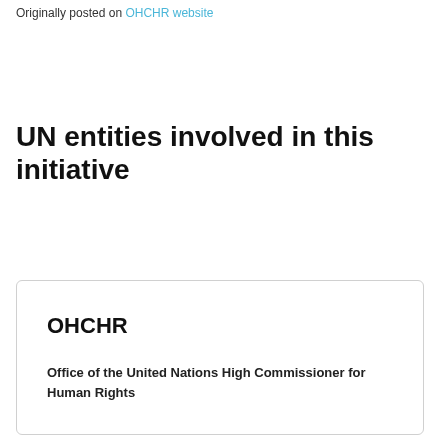Originally posted on OHCHR website
UN entities involved in this initiative
OHCHR
Office of the United Nations High Commissioner for Human Rights